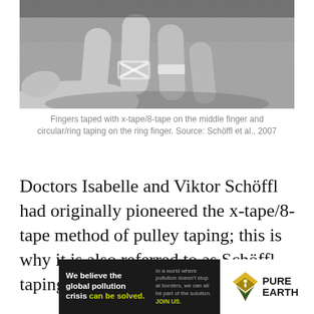[Figure (photo): Black and white close-up photograph of a hand resting on a textured surface, showing fingers with tape applied — x-tape/8-tape on the middle finger and circular/ring taping on the ring finger.]
Fingers taped with x-tape/8-tape on the middle finger and circular/ring taping on the ring finger. Source: Schöffl et al., 2007
Doctors Isabelle and Viktor Schöffl had originally pioneered the x-tape/8-tape method of pulley taping; this is why it is also referred to as Schöffl taping.
[Figure (infographic): Advertisement banner for Pure Earth organization. Left dark section: 'We believe the global pollution crisis can be solved.' Right white section: Pure Earth logo with diamond/earth icon and tagline about pollution not stopping at borders, with 'JOIN US.' call to action.]